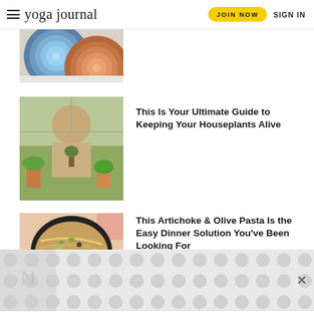yoga journal — JOIN NOW  SIGN IN
[Figure (photo): Two rolled yoga mats, one blue and one terracotta/brown, on a light surface — partially cropped at top of page]
[Figure (photo): Person holding a small plant in their hands, surrounded by houseplants and plant pots near a window]
This Is Your Ultimate Guide to Keeping Your Houseplants Alive
[Figure (photo): Bowl of pasta (artichoke and olive pasta) from above, held with pink hands, garnished with herbs]
This Artichoke & Olive Pasta Is the Easy Dinner Solution You've Been Looking For
[Figure (other): Advertisement banner with gray dot/circle pattern background and an X close button]